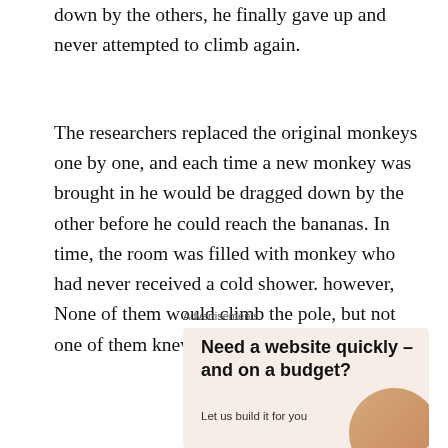down by the others, he finally gave up and never attempted to climb again.
The researchers replaced the original monkeys one by one, and each time a new monkey was brought in he would be dragged down by the other before he could reach the bananas. In time, the room was filled with monkey who had never received a cold shower. however, None of them would climb the pole, but not one of them knew why.
Advertisements
[Figure (illustration): Advertisement banner with beige/tan background. Headline reads 'Need a website quickly – and on a budget?' with subtext 'Let us build it for you' and a decorative circular image of a person at bottom right.]